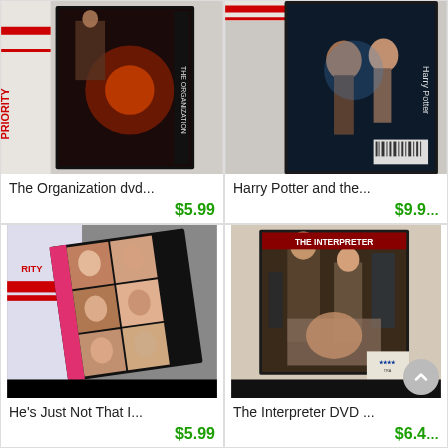[Figure (photo): DVD cover of The Organization movie, dark action imagery]
The Organization dvd...
$5.99
[Figure (photo): Harry Potter DVD case, showing characters on cover]
Harry Potter and the...
$9.9
[Figure (photo): He's Just Not That Into You DVD cover with collage of faces]
He's Just Not That I...
$5.99
[Figure (photo): The Interpreter DVD case with action scene on cover]
The Interpreter DVD ...
$6.4